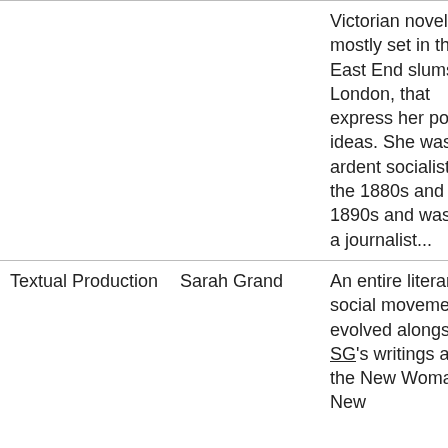|  |  |  |
| --- | --- | --- |
|  |  | Victorian novels, mostly set in the East End slums of London, that express her political ideas. She was an ardent socialist in the 1880s and 1890s and was also a journalist... |
| Textual Production | Sarah Grand | An entire literary-social movement evolved alongside SG's writings about the New Woman. New |